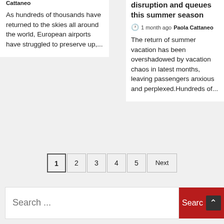Cattaneo
As hundreds of thousands have returned to the skies all around the world, European airports have struggled to preserve up,...
disruption and queues this summer season
1 month ago Paola Cattaneo
The return of summer vacation has been overshadowed by vacation chaos in latest months, leaving passengers anxious and perplexed.Hundreds of...
1
2
3
4
5
Next
Search ...